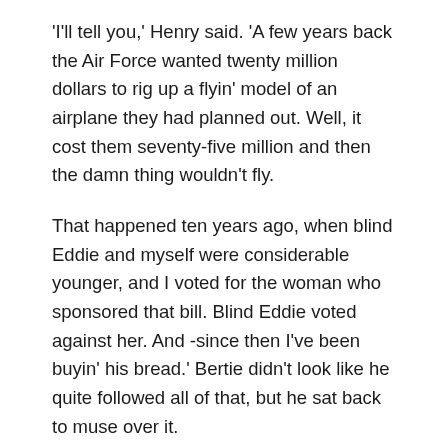'I'll tell you,' Henry said. 'A few years back the Air Force wanted twenty million dollars to rig up a flyin' model of an airplane they had planned out. Well, it cost them seventy-five million and then the damn thing wouldn't fly.
That happened ten years ago, when blind Eddie and myself were considerable younger, and I voted for the woman who sponsored that bill. Blind Eddie voted against her. And -since then I've been buyin' his bread.' Bertie didn't look like he quite followed all of that, but he sat back to muse over it.
Now the door opened again, letting in a blast of the cold grey air outside, and a young kid came in, stamping snow off his boots. I placed him after a second. He was Richie Grenading's kid, and he